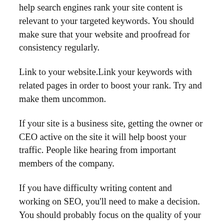help search engines rank your site content is relevant to your targeted keywords. You should make sure that your website and proofread for consistency regularly.
Link to your website.Link your keywords with related pages in order to boost your rank. Try and make them uncommon.
If your site is a business site, getting the owner or CEO active on the site it will help boost your traffic. People like hearing from important members of the company.
If you have difficulty writing content and working on SEO, you'll need to make a decision. You should probably focus on the quality of your content and think about SEO tactics later. If your content is poor, no visitor will ever come back to it.
Games and surveys are good ways to find your site to